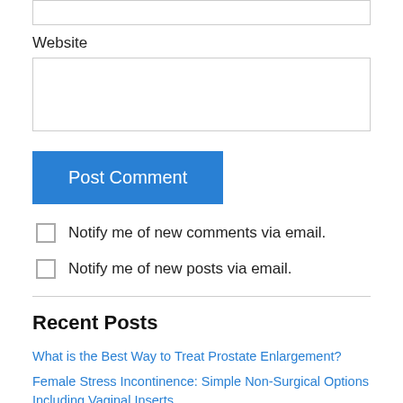Website
Post Comment
Notify me of new comments via email.
Notify me of new posts via email.
Recent Posts
What is the Best Way to Treat Prostate Enlargement?
Female Stress Incontinence: Simple Non-Surgical Options Including Vaginal Inserts
Sexual Function in Male Pre-Diabetics